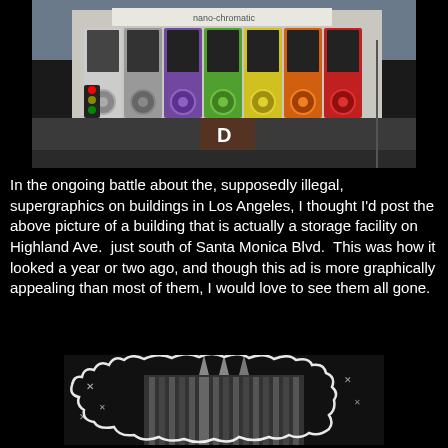[Figure (photo): A large colorful iPod nano-chromatic advertisement supergraphic covering the side of a building on Highland Ave just south of Santa Monica Blvd in Los Angeles. Multiple iPod nanos in rainbow colors displayed on the building facade. Street scene below with traffic signals and other buildings.]
In the ongoing battle about the, supposedly illegal, supergraphics on buildings in Los Angeles, I thought I'd post the above picture of a building that is actually a storage facility on Highland Ave.  just south of Santa Monica Blvd.  This was how it looked a year or two ago, and though this ad is more graphically appealing than most of them, I would love to see them all gone.
[Figure (photo): A black and white artistic photograph of an architectural structure, possibly a church or civic building, with a white line-drawn overlay of a cloud or abstract shape. Star-like marks visible in the dark sky area.]